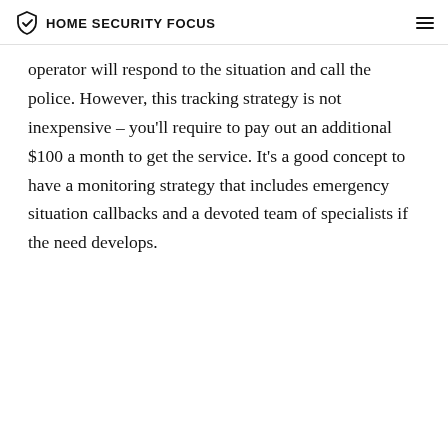HOME SECURITY FOCUS
operator will respond to the situation and call the police. However, this tracking strategy is not inexpensive – you'll require to pay out an additional $100 a month to get the service. It's a good concept to have a monitoring strategy that includes emergency situation callbacks and a devoted team of specialists if the need develops.